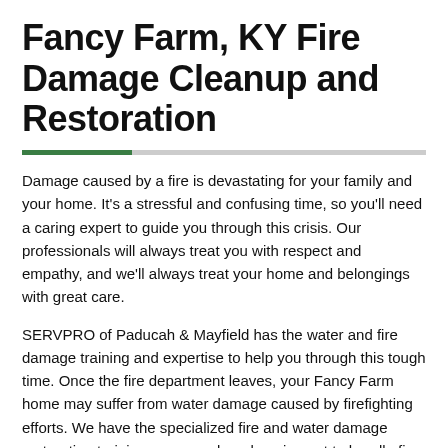Fancy Farm, KY Fire Damage Cleanup and Restoration
Damage caused by a fire is devastating for your family and your home. It's a stressful and confusing time, so you'll need a caring expert to guide you through this crisis. Our professionals will always treat you with respect and empathy, and we'll always treat your home and belongings with great care.
SERVPRO of Paducah & Mayfield has the water and fire damage training and expertise to help you through this tough time. Once the fire department leaves, your Fancy Farm home may suffer from water damage caused by firefighting efforts. We have the specialized fire and water damage restoration training, personnel, and equipment to handle fire and water damage and can quickly restore your home to pre-fire condition.